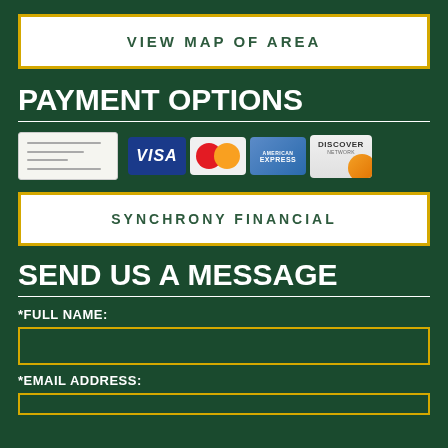VIEW MAP OF AREA
PAYMENT OPTIONS
[Figure (illustration): Payment method icons: check image, Visa, MasterCard, American Express, Discover credit cards]
SYNCHRONY FINANCIAL
SEND US A MESSAGE
*FULL NAME:
*EMAIL ADDRESS: